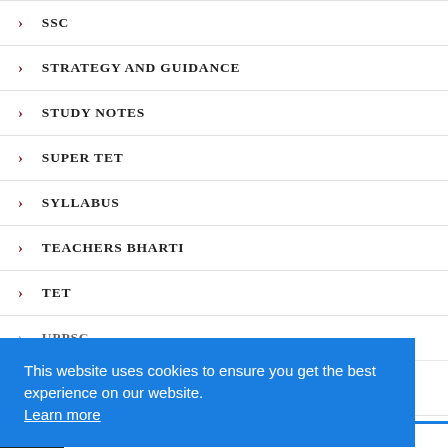SSC
STRATEGY AND GUIDANCE
STUDY NOTES
SUPER TET
SYLLABUS
TEACHERS BHARTI
TET
UPPSC
This website uses cookies to ensure you get the best experience on our website. Learn more
Got it!
CTET PREVIOUS YEAR QUESTION PAPER: